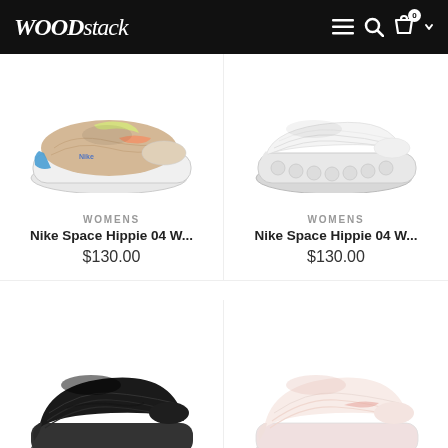WOODstack
[Figure (photo): Nike Space Hippie 04 sneaker in multicolor (pink, yellow, blue) with white chunky sole]
WOMENS
Nike Space Hippie 04 W...
$130.00
[Figure (photo): Nike Space Hippie 04 sneaker in white with white chunky sole]
WOMENS
Nike Space Hippie 04 W...
$130.00
[Figure (photo): Nike sneaker in black, partially visible at bottom of page]
[Figure (photo): Nike sneaker in pink/light color, partially visible at bottom of page]